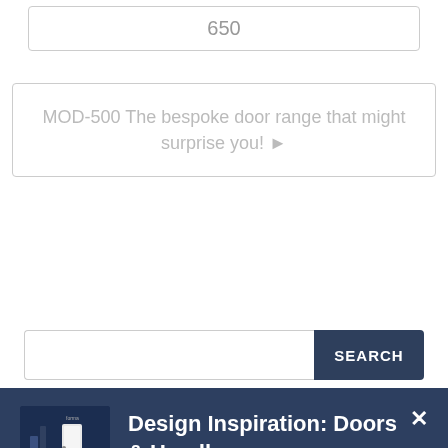650
MOD-500 The bespoke door range that might surprise you! ▶
SEARCH
Design Inspiration: Doors & Handles
Download your free copy, packed with design and product ideas
Download now